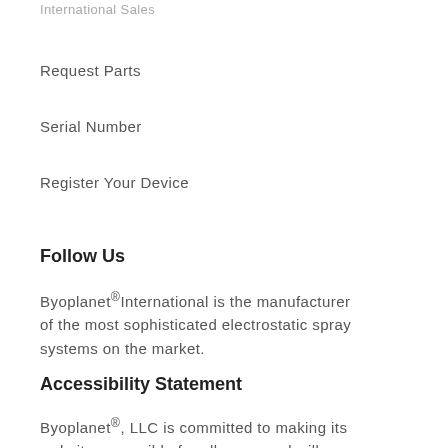International Sales
Request Parts
Serial Number
Register Your Device
Follow Us
Byoplanet®International is the manufacturer of the most sophisticated electrostatic spray systems on the market.
Accessibility Statement
Byoplanet®, LLC is committed to making its website accessible for all users and will continue to enhance